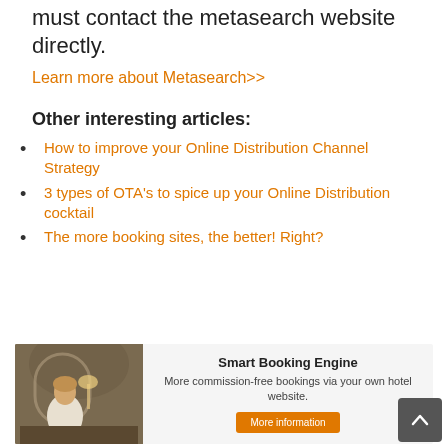must contact the metasearch website directly.
Learn more about Metasearch>>
Other interesting articles:
How to improve your Online Distribution Channel Strategy
3 types of OTA's to spice up your Online Distribution cocktail
The more booking sites, the better! Right?
[Figure (infographic): Smart Booking Engine banner with photo of woman at desk, title 'Smart Booking Engine', description 'More commission-free bookings via your own hotel website.', and 'More information' button]